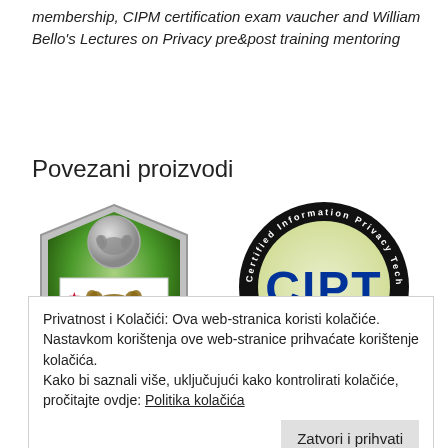membership, CIPM certification exam vaucher and William Bello's Lectures on Privacy pre&post training mentoring
Povezani proizvodi
[Figure (illustration): Green shield badge with California Republic bear logo and text 'California Consumer Privacy Act']
[Figure (logo): CIPT (Certified Information Privacy Technologist) circular badge with black border, yellow-green center and blue CIPT text]
Privatnost i Kolačići: Ova web-stranica koristi kolačiće. Nastavkom korištenja ove web-stranice prihvaćate korištenje kolačića. Kako bi saznali više, uključujući kako kontrolirati kolačiće, pročitajte ovdje: Politika kolačića
€3195